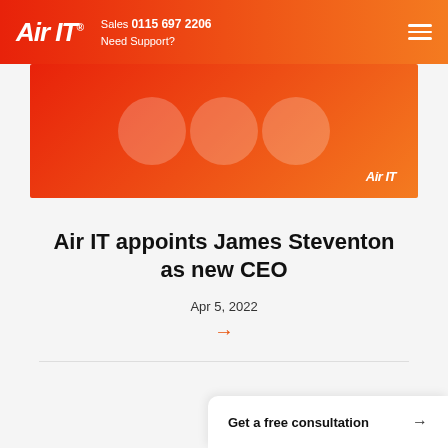Air IT. Sales 0115 697 2206 Need Support?
[Figure (illustration): Orange gradient banner with three overlapping white semi-transparent circles and Air IT logo in bottom right]
Air IT appoints James Steventon as new CEO
Apr 5, 2022
→
Get a free consultation →